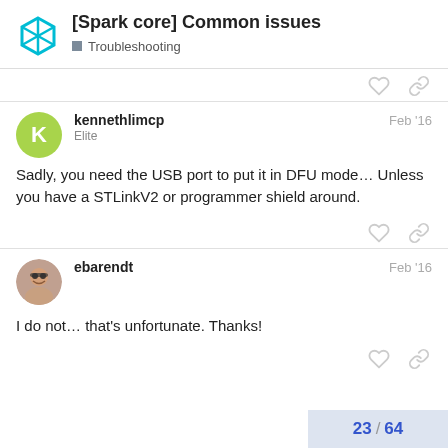[Spark core] Common issues — Troubleshooting
kennethlimcp  Feb '16
Elite

Sadly, you need the USB port to put it in DFU mode… Unless you have a STLinkV2 or programmer shield around.
ebarendt  Feb '16

I do not… that's unfortunate. Thanks!
23 / 64